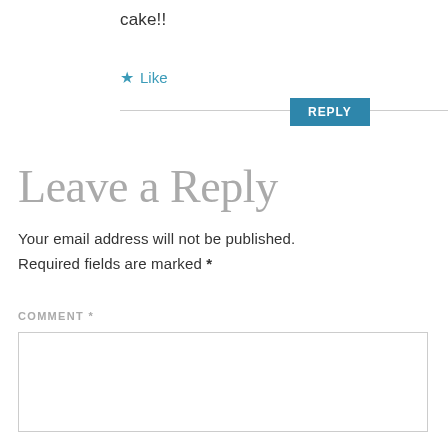cake!!
★ Like
REPLY
Leave a Reply
Your email address will not be published.
Required fields are marked *
COMMENT *